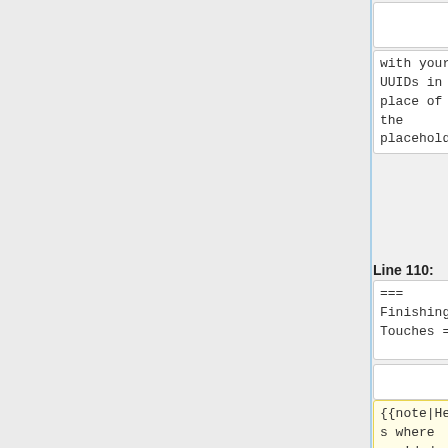with your UUIDs in place of the placeholder.
with your UUIDs in place of the placeholder.
Line 110:
Line 110:
=== Finishing Touches ===
=== Finishing Touches ===
{{note|Here's where you'd do the part I said was iffy and won't be necessary with 5.16
{{note|Here's where you'd do the part I said was iffy and won't be necessary once my PR